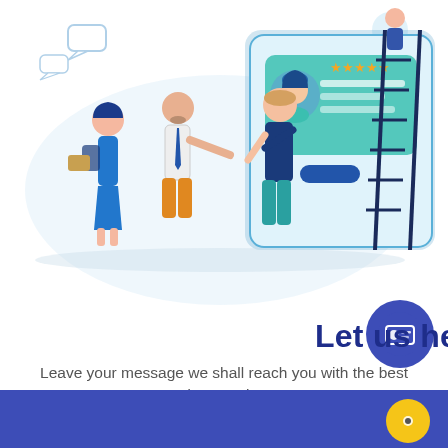[Figure (illustration): Flat vector illustration showing three people interacting near a large smartphone/tablet screen displaying a profile card with 5 stars rating. A person on a ladder is visible on the right side.]
Let us help you!
Leave your message we shall reach you with the best data service
[Figure (other): Blue contact card icon in a dark blue circle]
[Figure (other): Scroll up arrow button in blue rounded square]
CONTACT US
[Figure (other): Yellow circle with chat bubble icon at bottom right of page footer]